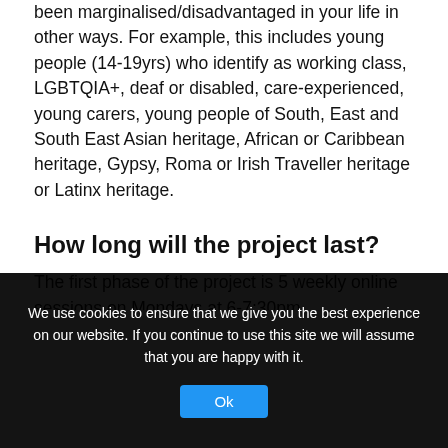been marginalised/disadvantaged in your life in other ways. For example, this includes young people (14-19yrs) who identify as working class, LGBTQIA+, deaf or disabled, care-experienced, young carers, young people of South, East and South East Asian heritage, African or Caribbean heritage, Gypsy, Roma or Irish Traveller heritage or Latinx heritage.
How long will the project last?
The first phase of the project is 5 weekly online sessions on Mondays at 6-7:30pm
These sessions are about you finding out more about becoming a Creative Activator. Sessions will include
We use cookies to ensure that we give you the best experience on our website. If you continue to use this site we will assume that you are happy with it.